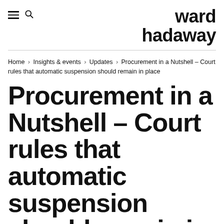ward hadaway
Home › Insights & events › Updates › Procurement in a Nutshell – Court rules that automatic suspension should remain in place
Procurement in a Nutshell – Court rules that automatic suspension should remain in place